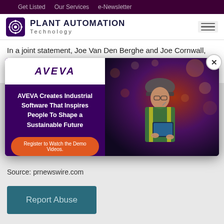Get Listed   Our Services   e-Newsletter
[Figure (logo): Plant Automation Technology logo with gear icon]
In a joint statement, Joe Van Den Berghe and Joe Cornwall, co-Principals of Setpoint Inc., expressed enthusiasm for the acquisition. "Today is an exciting day for our team at
[Figure (advertisement): AVEVA advertisement overlay with purple background. AVEVA logo in white box top-left. Text: 'AVEVA Creates Industrial Software That Inspires People To Shape a Sustainable Future'. Orange button: 'Register to Watch the Demo Videos.' Right side shows photo of worker in hard hat and hi-vis vest with tablet, industrial background. Close X button top right.]
Source: prnewswire.com
Report Abuse